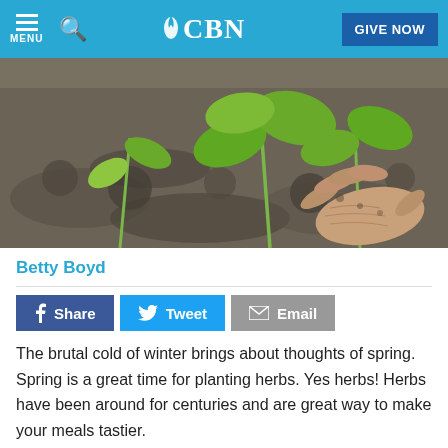CBN — GIVE NOW
[Figure (photo): Close-up of elderly hands planting green seedlings in dark soil]
Betty Boyd
Share  Tweet  Email
The brutal cold of winter brings about thoughts of spring. Spring is a great time for planting herbs. Yes herbs! Herbs have been around for centuries and are great way to make your meals tastier.